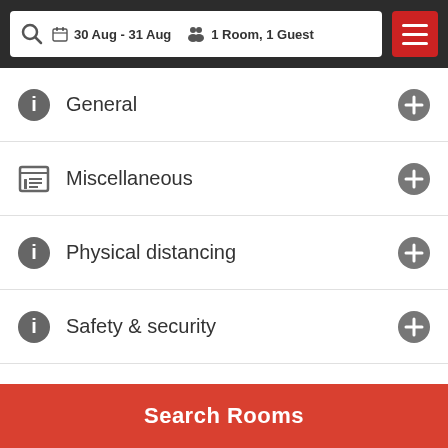30 Aug - 31 Aug · 1 Room, 1 Guest
General
Miscellaneous
Physical distancing
Safety & security
Safety features
Services
Shops
Search Rooms